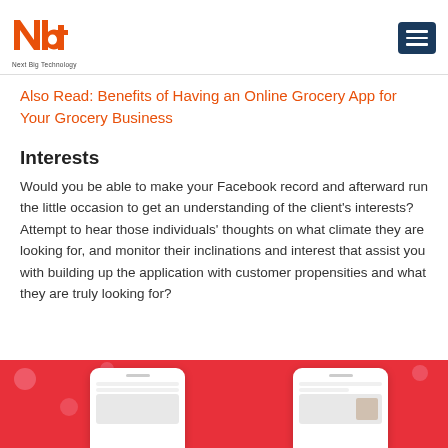nbt — Next Big Technology
Also Read: Benefits of Having an Online Grocery App for Your Grocery Business
Interests
Would you be able to make your Facebook record and afterward run the little occasion to get an understanding of the client's interests? Attempt to hear those individuals' thoughts on what climate they are looking for, and monitor their inclinations and interest that assist you with building up the application with customer propensities and what they are truly looking for?
[Figure (photo): Red background with two smartphone mockups showing grocery app screens]